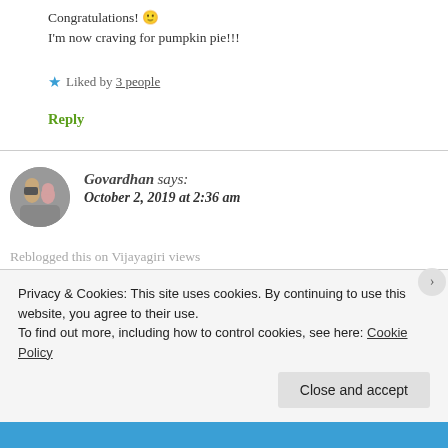Congratulations! 🙂
I'm now craving for pumpkin pie!!!
★ Liked by 3 people
Reply
Govardhan says:
October 2, 2019 at 2:36 am
Reblogged this on Vijayagiri views
Privacy & Cookies: This site uses cookies. By continuing to use this website, you agree to their use.
To find out more, including how to control cookies, see here: Cookie Policy
Close and accept